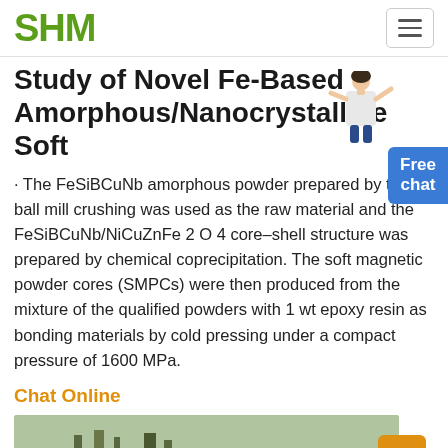SHM
Study of Novel Fe-Based Amorphous/Nanocrystalline Soft
· The FeSiBCuNb amorphous powder prepared by the ball mill crushing was used as the raw material and the FeSiBCuNb/NiCuZnFe 2 O 4 core–shell structure was prepared by chemical coprecipitation. The soft magnetic powder cores (SMPCs) were then produced from the mixture of the qualified powders with 1 wt epoxy resin as bonding materials by cold pressing under a compact pressure of 1600 MPa.
Chat Online
[Figure (photo): Outdoor landscape photo showing water and structures]